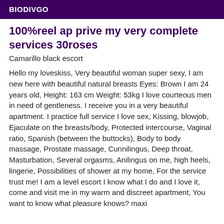BIODIVGO
100%reel ap prive my very complete services 30roses
Camarillo black escort
Hello my loveskiss, Very beautiful woman super sexy, I am new here with beautiful natural breasts Eyes: Brown I am 24 years old, Height: 163 cm Weight: 53kg I love courteous men in need of gentleness. I receive you in a very beautiful apartment. I practice full service I love sex, Kissing, blowjob, Ejaculate on the breasts/body, Protected intercourse, Vaginal ratio, Spanish (between the buttocks), Body to body massage, Prostate massage, Cunnilingus, Deep throat, Masturbation, Several orgasms, Anilingus on me, high heels, lingerie, Possibilities of shower at my home, For the service trust me! I am a level escort I know what I do and I love it, come and visit me in my warm and discreet apartment, You want to know what pleasure knows? maxi